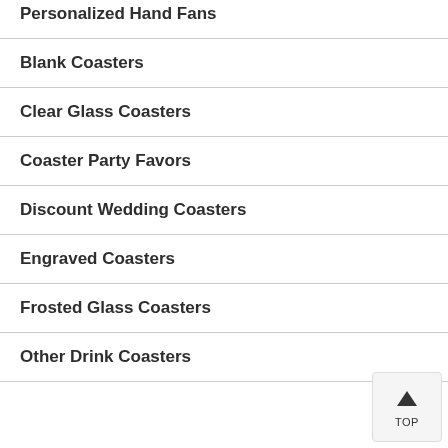Personalized Hand Fans
Blank Coasters
Clear Glass Coasters
Coaster Party Favors
Discount Wedding Coasters
Engraved Coasters
Frosted Glass Coasters
Other Drink Coasters